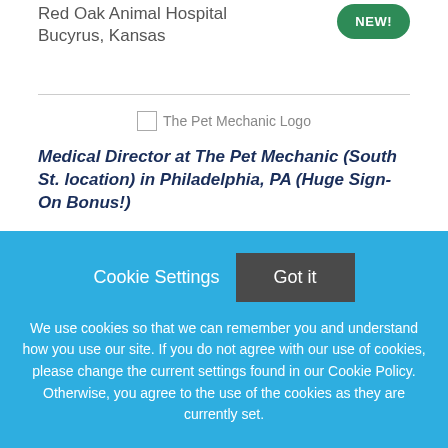Red Oak Animal Hospital
Bucyrus, Kansas
NEW!
[Figure (logo): The Pet Mechanic Logo placeholder image]
Medical Director at The Pet Mechanic (South St. location) in Philadelphia, PA (Huge Sign-On Bonus!)
Cookie Settings  Got it
We use cookies so that we can remember you and understand how you use our site. If you do not agree with our use of cookies, please change the current settings found in our Cookie Policy. Otherwise, you agree to the use of the cookies as they are currently set.